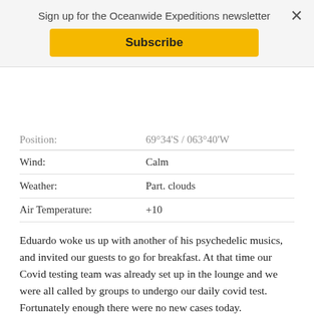Sign up for the Oceanwide Expeditions newsletter
Subscribe
| Position: | 69°34'S / 063°40'W |
| Wind: | Calm |
| Weather: | Part. clouds |
| Air Temperature: | +10 |
Eduardo woke us up with another of his psychedelic musics, and invited our guests to go for breakfast. At that time our Covid testing team was already set up in the lounge and we were all called by groups to undergo our daily covid test. Fortunately enough there were no new cases today.
Our daily activities started at Mikkelson Bay where we had a split zodiac cruise and landing. The landing